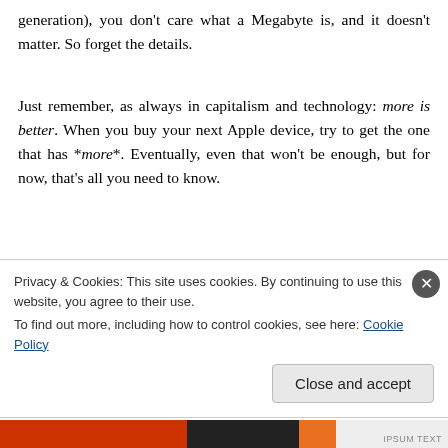generation), you don't care what a Megabyte is, and it doesn't matter. So forget the details.
Just remember, as always in capitalism and technology: more is better. When you buy your next Apple device, try to get the one that has *more*. Eventually, even that won't be enough, but for now, that's all you need to know.
Privacy & Cookies: This site uses cookies. By continuing to use this website, you agree to their use.
To find out more, including how to control cookies, see here: Cookie Policy